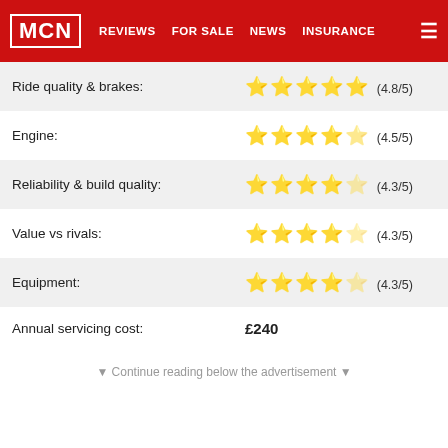MCN | REVIEWS | FOR SALE | NEWS | INSURANCE
| Category | Rating |
| --- | --- |
| Ride quality & brakes: | ★★★★★ (4.8/5) |
| Engine: | ★★★★½ (4.5/5) |
| Reliability & build quality: | ★★★★½ (4.3/5) |
| Value vs rivals: | ★★★★½ (4.3/5) |
| Equipment: | ★★★★½ (4.3/5) |
| Annual servicing cost: | £240 |
▼ Continue reading below the advertisement ▼